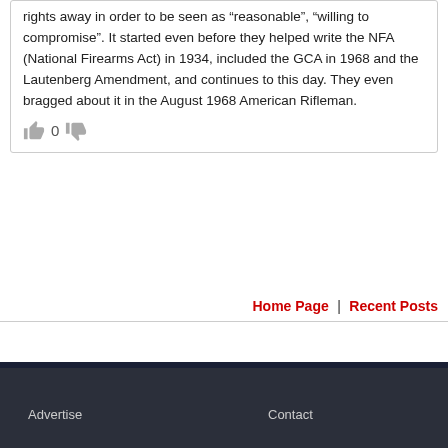rights away in order to be seen as “reasonable”, “willing to compromise”. It started even before they helped write the NFA (National Firearms Act) in 1934, included the GCA in 1968 and the Lautenberg Amendment, and continues to this day. They even bragged about it in the August 1968 American Rifleman.
[Figure (other): Thumbs up icon, vote count 0, thumbs down icon]
Home Page | Recent Posts
Advertise   Contact